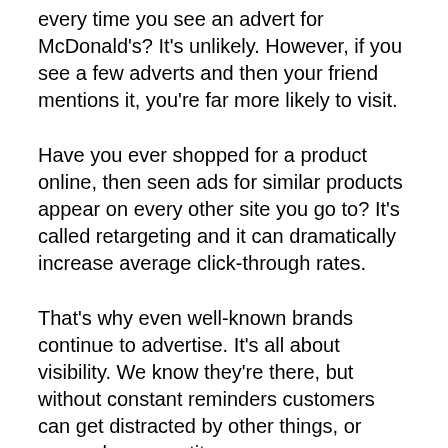every time you see an advert for McDonald's? It's unlikely. However, if you see a few adverts and then your friend mentions it, you're far more likely to visit.
Have you ever shopped for a product online, then seen ads for similar products appear on every other site you go to? It's called retargeting and it can dramatically increase average click-through rates.
That's why even well-known brands continue to advertise. It's all about visibility. We know they're there, but without constant reminders customers can get distracted by other things, or worse, by competitors.
Have you become invisible? WordLinx has a wide range of options (starting at just $10) to